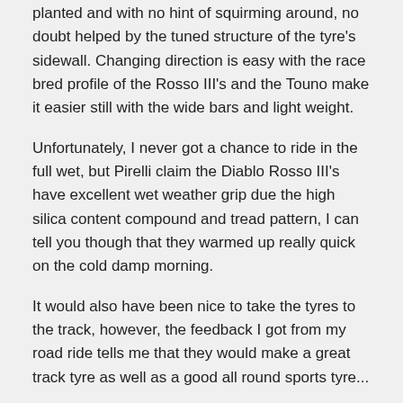planted and with no hint of squirming around, no doubt helped by the tuned structure of the tyre's sidewall. Changing direction is easy with the race bred profile of the Rosso III's and the Touno make it easier still with the wide bars and light weight.
Unfortunately, I never got a chance to ride in the full wet, but Pirelli claim the Diablo Rosso III's have excellent wet weather grip due the high silica content compound and tread pattern, I can tell you though that they warmed up really quick on the cold damp morning.
It would also have been nice to take the tyres to the track, however, the feedback I got from my road ride tells me that they would make a great track tyre as well as a good all round sports tyre...